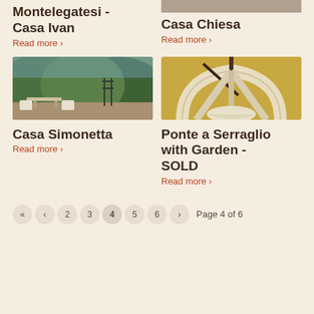Montelegatesi - Casa Ivan
Read more >
[Figure (photo): Photo of Casa Chiesa interior or exterior]
Casa Chiesa
Read more >
[Figure (photo): Photo of a terrace with white chairs and mountain/forest view behind a metal gate - Casa Simonetta]
Casa Simonetta
Read more >
[Figure (photo): Photo of white arched ceiling architectural detail - Ponte a Serraglio with Garden]
Ponte a Serraglio with Garden - SOLD
Read more >
« ‹ 2 3 4 5 6 › Page 4 of 6